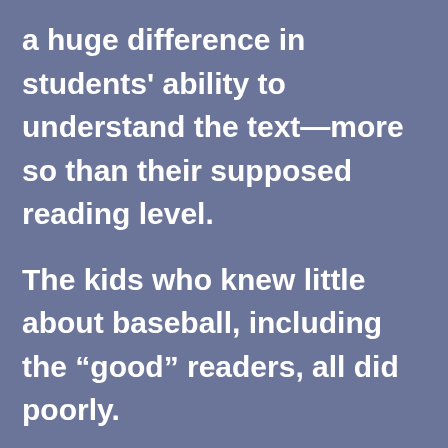a huge difference in students' ability to understand the text—more so than their supposed reading level.

The kids who knew little about baseball, including the “good” readers, all did poorly.

And all those who knew a lot about baseball, whether they